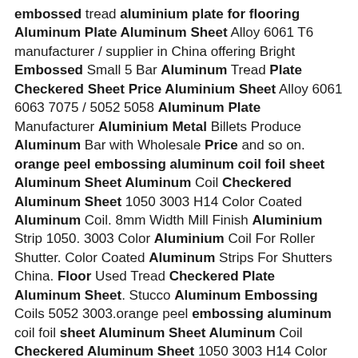embossed tread aluminium plate for flooring Aluminum Plate Aluminum Sheet Alloy 6061 T6 manufacturer / supplier in China offering Bright Embossed Small 5 Bar Aluminum Tread Plate Checkered Sheet Price Aluminium Sheet Alloy 6061 6063 7075 / 5052 5058 Aluminum Plate Manufacturer Aluminium Metal Billets Produce Aluminum Bar with Wholesale Price and so on. orange peel embossing aluminum coil foil sheet Aluminum Sheet Aluminum Coil Checkered Aluminum Sheet 1050 3003 H14 Color Coated Aluminum Coil. 8mm Width Mill Finish Aluminium Strip 1050. 3003 Color Aluminium Coil For Roller Shutter. Color Coated Aluminum Strips For Shutters China. Floor Used Tread Checkered Plate Aluminum Sheet. Stucco Aluminum Embossing Coils 5052 3003.orange peel embossing aluminum coil foil sheet Aluminum Sheet Aluminum Coil Checkered Aluminum Sheet 1050 3003 H14 Color Coated Aluminum Coil. 8mm Width Mill Finish Aluminium Strip 1050. 3003 Color Aluminium Coil For Roller Shutter. Color Coated Aluminum Strips For Shutters China. Floor Used Tread Checkered Plate Aluminum Sheet. Stucco Aluminum Embossing Coils 5052 3003.orange peel embossing aluminum coil foil sheet Aluminum Sheet Aluminum Coil Checkered Aluminum Sheet 1050 3003 H14 Color Coated Aluminum Coil. 8mm Width Mill Finish Aluminium Strip 1050. 3003 Color